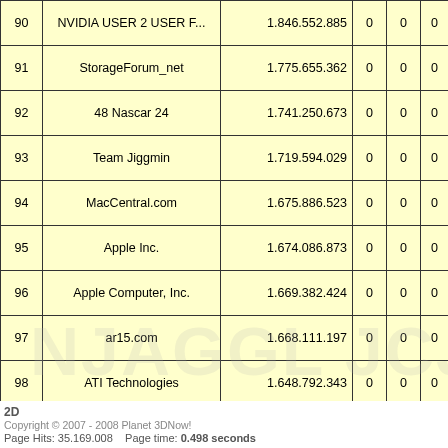|  |  |  |  |  |  |
| --- | --- | --- | --- | --- | --- |
| 90 | NVIDIA USER 2 USER F... | 1.846.552.885 | 0 | 0 | 0 |
| 91 | StorageForum_net | 1.775.655.362 | 0 | 0 | 0 |
| 92 | 48 Nascar 24 | 1.741.250.673 | 0 | 0 | 0 |
| 93 | Team Jiggmin | 1.719.594.029 | 0 | 0 | 0 |
| 94 | MacCentral.com | 1.675.886.523 | 0 | 0 | 0 |
| 95 | Apple Inc. | 1.674.086.873 | 0 | 0 | 0 |
| 96 | Apple Computer, Inc. | 1.669.382.424 | 0 | 0 | 0 |
| 97 | ar15.com | 1.668.111.197 | 0 | 0 | 0 |
| 98 | ATI Technologies | 1.648.792.343 | 0 | 0 | 0 |
| 99 | No Heroes Folding Team | 1.618.539.549 | 0 | 0 | 0 |
| 100 | Funfile f@h | 1.590.252.762 | 0 | 0 | 0 |
2D
Copyright © 2007 - 2008 Planet 3DNow!
Page Hits: 35.169.008    Page time: 0.498 seconds